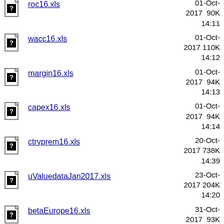roc16.xls  01-Oct-2017 90K 14:11
wacc16.xls  01-Oct-2017 110K 14:12
margin16.xls  01-Oct-2017 94K 14:13
capex16.xls  01-Oct-2017 94K 14:14
ctryprem16.xls  20-Oct-2017 738K 14:39
uValuedataJan2017.xls  23-Oct-2017 204K 14:20
betaEurope16.xls  31-Oct-2017 93K 15:36
betaemerg16.xls  31-Oct-2017 92K 15:38